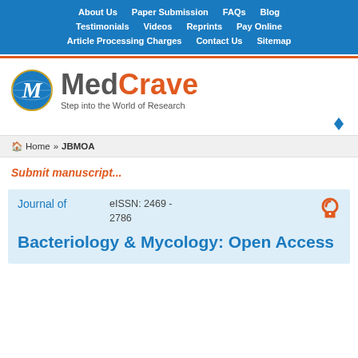About Us  Paper Submission  FAQs  Blog  Testimonials  Videos  Reprints  Pay Online  Article Processing Charges  Contact Us  Sitemap
[Figure (logo): MedCrave logo with globe icon and tagline 'Step into the World of Research']
Home » JBMOA
Submit manuscript...
Journal of  eISSN: 2469 - 2786
Bacteriology & Mycology: Open Access